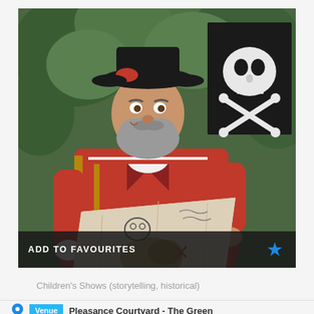[Figure (photo): A bearded man dressed in a red and gold pirate/historical costume, wearing a black tricorn hat, holding up a worn cloth treasure map with a skull drawn on it, standing in a green forest setting. Behind him is a black pirate flag with a white skull and crossbones.]
ADD TO FAVOURITES
Children's Shows (storytelling, historical)
Venue
Pleasance Courtyard - The Green